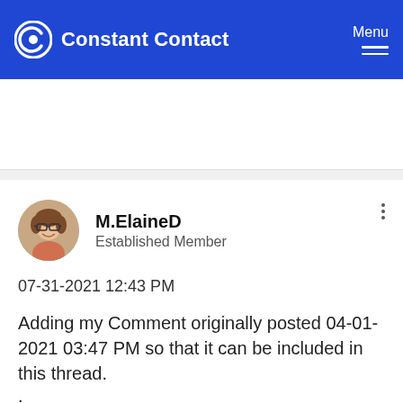[Figure (logo): Constant Contact logo — circular C icon in white on blue background, with white text 'Constant Contact']
[Figure (other): Hamburger menu icon with 'Menu' label in top right corner, white on blue]
[Figure (photo): Circular avatar photo of M.ElaineD, a woman with glasses and short hair, smiling]
M.ElaineD
Established Member
07-31-2021 12:43 PM
Adding my Comment originally posted 04-01-2021 03:47 PM so that it can be included in this thread.
.
New Survey Feature - No Skip Logic Functionality! I have been a frequent user of the Legacy Survey feature for over ten years. I tested the new Survey